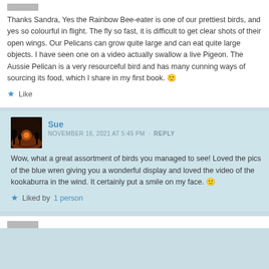Thanks Sandra, Yes the Rainbow Bee-eater is one of our prettiest birds, and yes so colourful in flight. The fly so fast, it is difficult to get clear shots of their open wings. Our Pelicans can grow quite large and can eat quite large objects. I have seen one on a video actually swallow a live Pigeon. The Aussie Pelican is a very resourceful bird and has many cunning ways of sourcing its food, which I share in my first book. 🙂
★ Like
Sue
NOVEMBER 16, 2021 AT 5:45 PM · REPLY
Wow, what a great assortment of birds you managed to see! Loved the pics of the blue wren giving you a wonderful display and loved the video of the kookaburra in the wind. It certainly put a smile on my face. 🙂
★ Liked by 1 person